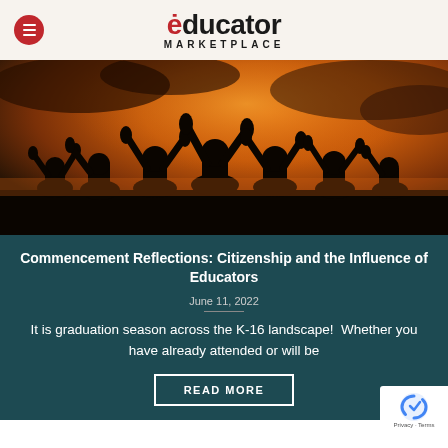educator MARKETPLACE
[Figure (photo): Silhouettes of graduates raising hands against an orange sunset sky]
Commencement Reflections: Citizenship and the Influence of Educators
June 11, 2022
It is graduation season across the K-16 landscape!  Whether you have already attended or will be
READ MORE